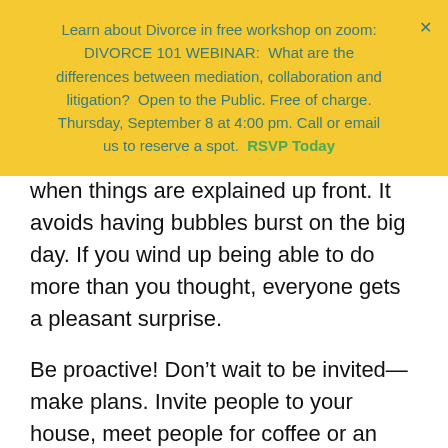Learn about Divorce in free workshop on zoom: DIVORCE 101 WEBINAR:  What are the differences between mediation, collaboration and litigation?  Open to the Public. Free of charge. Thursday, September 8 at 4:00 pm. Call or email us to reserve a spot.  RSVP Today
when things are explained up front. It avoids having bubbles burst on the big day. If you wind up being able to do more than you thought, everyone gets a pleasant surprise.
Be proactive! Don't wait to be invited—make plans. Invite people to your house, meet people for coffee or an outing. Don't isolate yourself. Isolation leads to depression. Mutual support revives faith in human beings. You don't have to spend a lot of money if that's a problem. Remember, simplicity is the key. Have a tree decorating party. Host a dinner where everyone brings something.